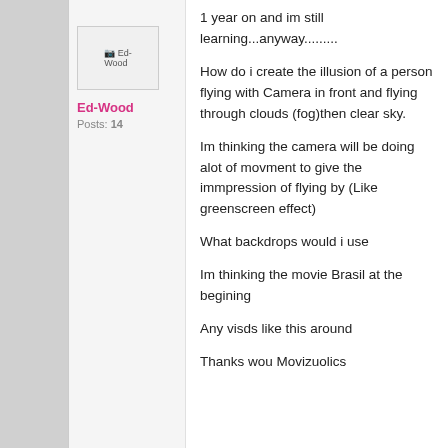1 year on and im still learning...anyway.........
[Figure (other): User avatar placeholder image for Ed-Wood]
Ed-Wood
Posts: 14
How do i create the illusion of a person flying with Camera in front and flying through clouds (fog)then clear sky.
Im thinking the camera will be doing alot of movment to give the immpression of flying by (Like greenscreen effect)

What backdrops would i use

Im thinking the movie Brasil at the begining

Any visds like this around

Thanks wou Movizuolics